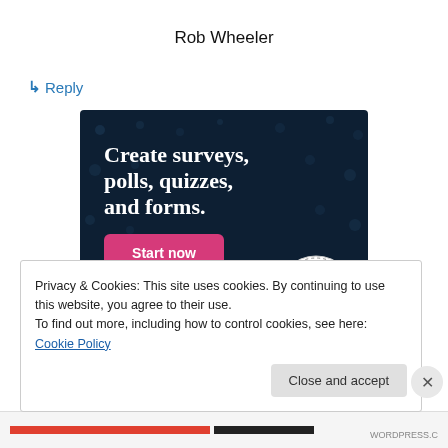Rob Wheeler
↳ Reply
[Figure (illustration): Dark navy blue advertisement banner with white serif bold text reading 'Create surveys, polls, quizzes, and forms.' with a pink/magenta 'Start now' button and a circular CROWD logo in the bottom right corner. Background has subtle dot pattern.]
Privacy & Cookies: This site uses cookies. By continuing to use this website, you agree to their use.
To find out more, including how to control cookies, see here: Cookie Policy